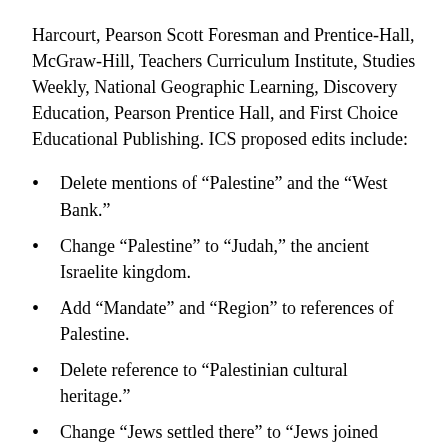Harcourt, Pearson Scott Foresman and Prentice-Hall, McGraw-Hill, Teachers Curriculum Institute, Studies Weekly, National Geographic Learning, Discovery Education, Pearson Prentice Hall, and First Choice Educational Publishing. ICS proposed edits include:
Delete mentions of “Palestine” and the “West Bank.”
Change “Palestine” to “Judah,” the ancient Israelite kingdom.
Add “Mandate” and “Region” to references of Palestine.
Delete reference to “Palestinian cultural heritage.”
Change “Jews settled there” to “Jews joined those [Jews] already there.”